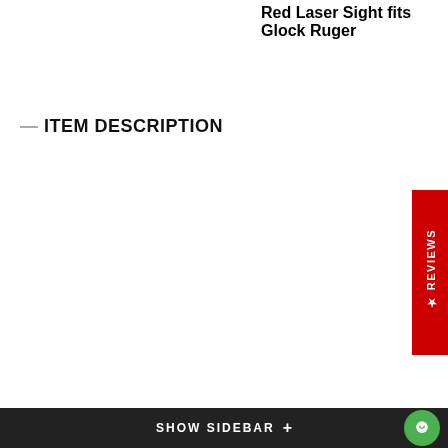Red Laser Sight fits Glock Ruger
ITEM DESCRIPTION
[Figure (other): Red vertical reviews tab sidebar with star icon and REVIEWS text]
SHOW SIDEBAR +